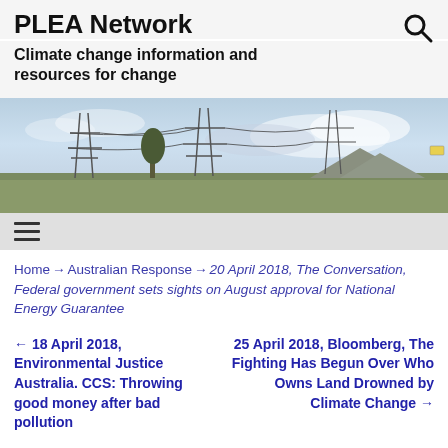PLEA Network
Climate change information and resources for change
[Figure (photo): Landscape photo showing electricity transmission pylons and power lines against a cloudy sky, with trees, green fields, and a distant mountain range.]
≡ (hamburger menu icon)
Home → Australian Response → 20 April 2018, The Conversation, Federal government sets sights on August approval for National Energy Guarantee
← 18 April 2018, Environmental Justice Australia. CCS: Throwing good money after bad pollution
25 April 2018, Bloomberg, The Fighting Has Begun Over Who Owns Land Drowned by Climate Change →